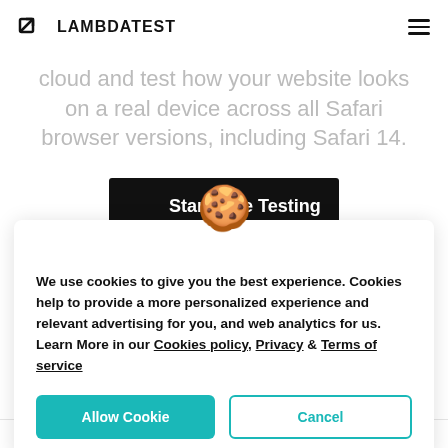LAMBDATEST
cloud and test how your website looks on a real device across all Safari browser versions, including Safari 14.
Start Free Testing
[Figure (illustration): Cookie emoji (🍪) overlapping the cookie consent dialog]
We use cookies to give you the best experience. Cookies help to provide a more personalized experience and relevant advertising for you, and web analytics for us. Learn More in our Cookies policy, Privacy & Terms of service
Allow Cookie
Cancel